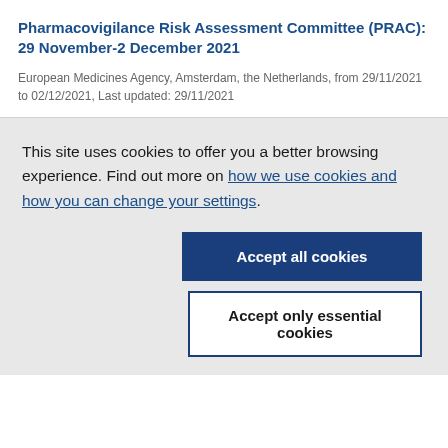Pharmacovigilance Risk Assessment Committee (PRAC): 29 November-2 December 2021
European Medicines Agency, Amsterdam, the Netherlands, from 29/11/2021 to 02/12/2021, Last updated: 29/11/2021
This site uses cookies to offer you a better browsing experience. Find out more on how we use cookies and how you can change your settings.